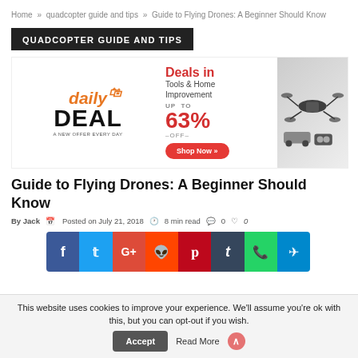Home » quadcopter guide and tips » Guide to Flying Drones: A Beginner Should Know
QUADCOPTER GUIDE AND TIPS
[Figure (infographic): Daily Deal advertisement banner: Deals in Tools & Home Improvement UP TO 63% OFF – Shop Now button, with drone and RC products images on the right.]
Guide to Flying Drones: A Beginner Should Know
By Jack  Posted on July 21, 2018  8 min read  0  0
[Figure (infographic): Social media share buttons: Facebook, Twitter, Google+, Reddit, Pinterest, Tumblr, WhatsApp, Telegram]
This website uses cookies to improve your experience. We'll assume you're ok with this, but you can opt-out if you wish.  Accept  Read More